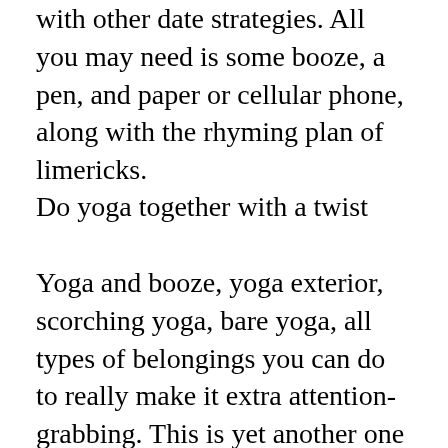with other date strategies. All you may need is some booze, a pen, and paper or cellular phone, along with the rhyming plan of limericks.
Do yoga together with a twist
Yoga and booze, yoga exterior, scorching yoga, bare yoga, all types of belongings you can do to really make it extra attention-grabbing. This is yet another one which is most likely best done with couples which are really relaxed around one another. Also, it's a little bit over the shorter facet. But yeah, it may be a blast to acquire yoga and see it and find out if you can and get it...